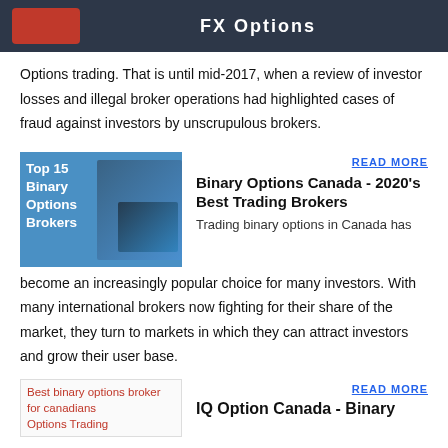FX Options
Options trading. That is until mid-2017, when a review of investor losses and illegal broker operations had highlighted cases of fraud against investors by unscrupulous brokers.
[Figure (illustration): Top 15 Binary Options Brokers - promotional image with trading screens]
READ MORE
Binary Options Canada - 2020's Best Trading Brokers
Trading binary options in Canada has become an increasingly popular choice for many investors. With many international brokers now fighting for their share of the market, they turn to markets in which they can attract investors and grow their user base.
[Figure (photo): Best binary options broker for canadians - broken image placeholder]
READ MORE
IQ Option Canada - Binary